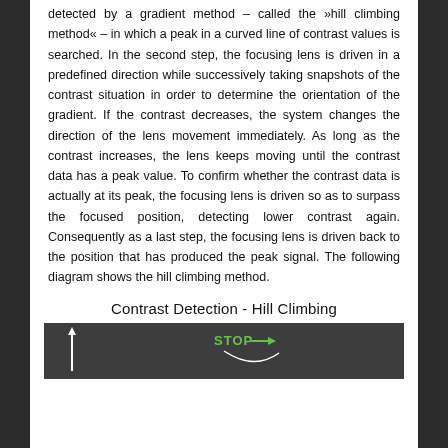detected by a gradient method – called the »hill climbing method« – in which a peak in a curved line of contrast values is searched. In the second step, the focusing lens is driven in a predefined direction while successively taking snapshots of the contrast situation in order to determine the orientation of the gradient. If the contrast decreases, the system changes the direction of the lens movement immediately. As long as the contrast increases, the lens keeps moving until the contrast data has a peak value. To confirm whether the contrast data is actually at its peak, the focusing lens is driven so as to surpass the focused position, detecting lower contrast again. Consequently as a last step, the focusing lens is driven back to the position that has produced the peak signal. The following diagram shows the hill climbing method.
Contrast Detection - Hill Climbing
[Figure (other): Diagram showing the hill climbing method for contrast detection, with a dark grey background, an upward arrow on the left side, and a green STOP label with an arrow in the center.]